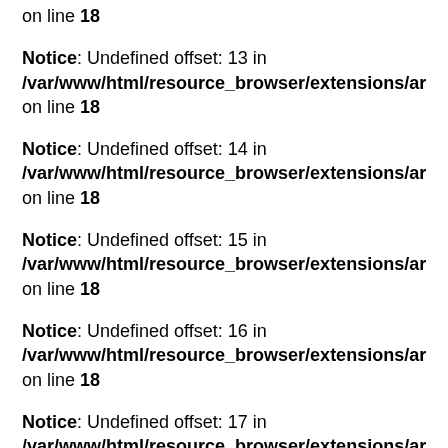on line 18
Notice: Undefined offset: 13 in /var/www/html/resource_browser/extensions/ar on line 18
Notice: Undefined offset: 14 in /var/www/html/resource_browser/extensions/ar on line 18
Notice: Undefined offset: 15 in /var/www/html/resource_browser/extensions/ar on line 18
Notice: Undefined offset: 16 in /var/www/html/resource_browser/extensions/ar on line 18
Notice: Undefined offset: 17 in /var/www/html/resource_browser/extensions/ar on line 18
Notice: Undefined offset: 18 in /var/www/html/resource_browser/extensions/ar